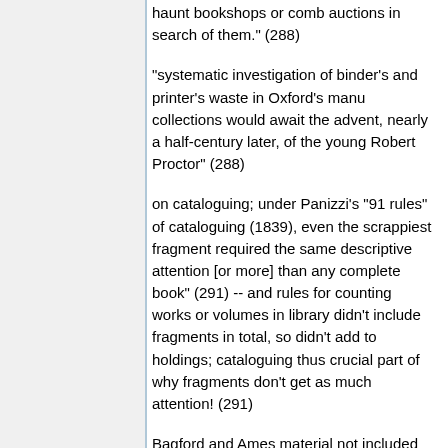haunt bookshops or comb auctions in search of them." (288)
"systematic investigation of binder's and printer's waste in Oxford's manu collections would await the advent, nearly a half-century later, of the young Robert Proctor" (288)
on cataloguing; under Panizzi's "91 rules" of cataloguing (1839), even the scrappiest fragment required the same descriptive attention [or more] than any complete book" (291) -- and rules for counting works or volumes in library didn't include fragments in total, so didn't add to holdings; cataloguing thus crucial part of why fragments don't get as much attention! (291)
Bagford and Ames material not included in General Catalogue of 1880-1905;